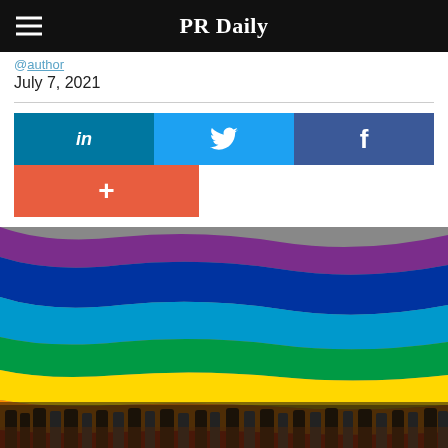PR Daily
@(author handle)
July 7, 2021
[Figure (infographic): Social sharing buttons: LinkedIn (teal), Twitter (blue), Facebook (dark blue), and a red/orange plus button]
[Figure (photo): Crowd of people holding up a large rainbow Pride flag at what appears to be a Pride parade or rally. The flag's colors (purple, blue, green, yellow, orange, red) fill most of the frame, with people's legs visible beneath it.]